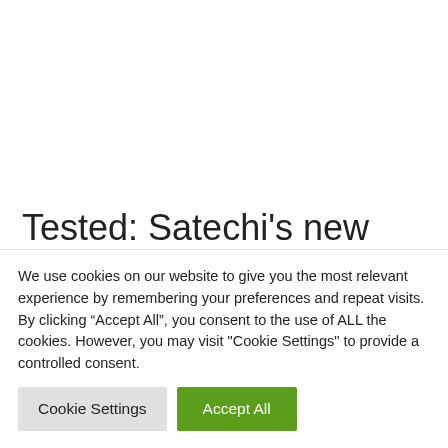[Figure (photo): White/blank upper area of a webpage screenshot, above an article title]
Tested: Satechi’s new
We use cookies on our website to give you the most relevant experience by remembering your preferences and repeat visits. By clicking “Accept All”, you consent to the use of ALL the cookies. However, you may visit "Cookie Settings" to provide a controlled consent.
Cookie Settings
Accept All